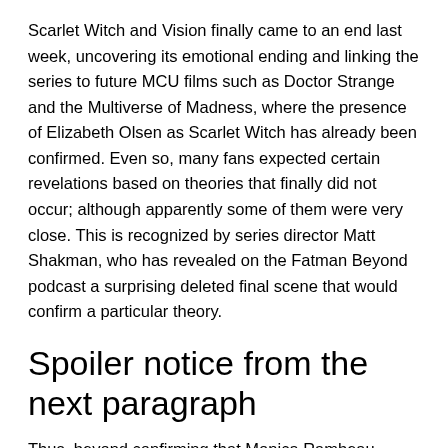Scarlet Witch and Vision finally came to an end last week, uncovering its emotional ending and linking the series to future MCU films such as Doctor Strange and the Multiverse of Madness, where the presence of Elizabeth Olsen as Scarlet Witch has already been confirmed. Even so, many fans expected certain revelations based on theories that finally did not occur; although apparently some of them were very close. This is recognized by series director Matt Shakman, who has revealed on the Fatman Beyond podcast a surprising deleted final scene that would confirm a particular theory.
Spoiler notice from the next paragraph
Thus, beyond confirming that Monica Rambeau, played by